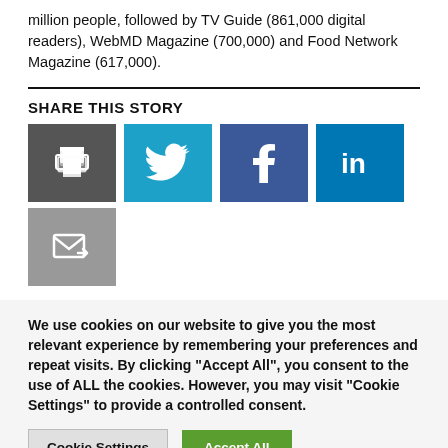million people, followed by TV Guide (861,000 digital readers), WebMD Magazine (700,000) and Food Network Magazine (617,000).
SHARE THIS STORY
[Figure (other): Social share buttons: print (dark grey), Twitter (blue bird), Facebook (blue f), LinkedIn (blue in), email (grey envelope)]
We use cookies on our website to give you the most relevant experience by remembering your preferences and repeat visits. By clicking "Accept All", you consent to the use of ALL the cookies. However, you may visit "Cookie Settings" to provide a controlled consent.
Cookie Settings   Accept All